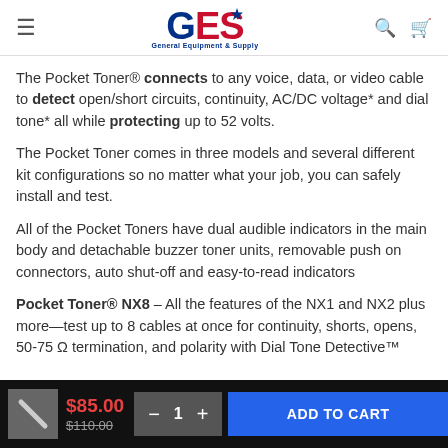GES General Equipment & Supply
The Pocket Toner® connects to any voice, data, or video cable to detect open/short circuits, continuity, AC/DC voltage* and dial tone* all while protecting up to 52 volts.
The Pocket Toner comes in three models and several different kit configurations so no matter what your job, you can safely install and test.
All of the Pocket Toners have dual audible indicators in the main body and detachable buzzer toner units, removable push on connectors, auto shut-off and easy-to-read indicators
Pocket Toner® NX8 – All the features of the NX1 and NX2 plus more—test up to 8 cables at once for continuity, shorts, opens, 50-75 Ω termination, and polarity with Dial Tone Detective™
$85.00  $110.00  1  ADD TO CART